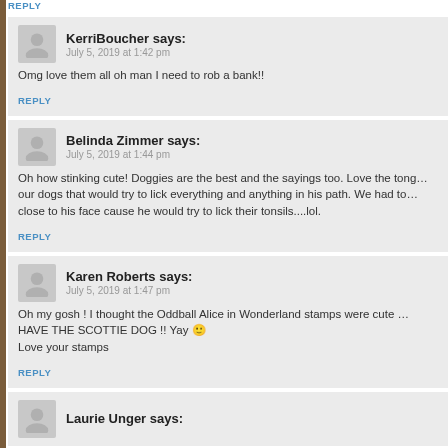REPLY
KerriBoucher says:
July 5, 2019 at 1:42 pm
Omg love them all oh man I need to rob a bank!!
REPLY
Belinda Zimmer says:
July 5, 2019 at 1:44 pm
Oh how stinking cute! Doggies are the best and the sayings too. Love the tongue one...we had one of our dogs that would try to lick everything and anything in his path. We had to not let anyone get close to his face cause he would try to lick their tonsils....lol.
REPLY
Karen Roberts says:
July 5, 2019 at 1:47 pm
Oh my gosh ! I thought the Oddball Alice in Wonderland stamps were cute ... HAVE THE SCOTTIE DOG !! Yay 🙂 Love your stamps
REPLY
Laurie Unger says: